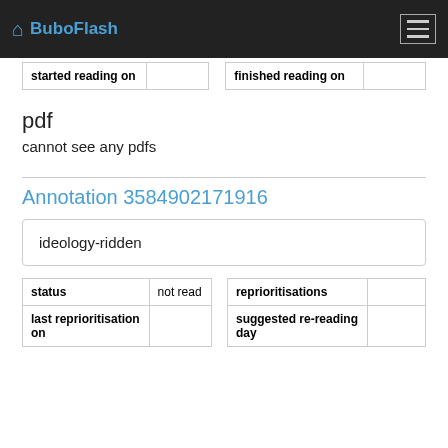BuboFlash
| started reading on |  |  | finished reading on |  |
pdf
cannot see any pdfs
Annotation 3584902171916
ideology-ridden
| status | not read |  | reprioritisations |  |
| last reprioritisation on |  |  | suggested re-reading day |  |